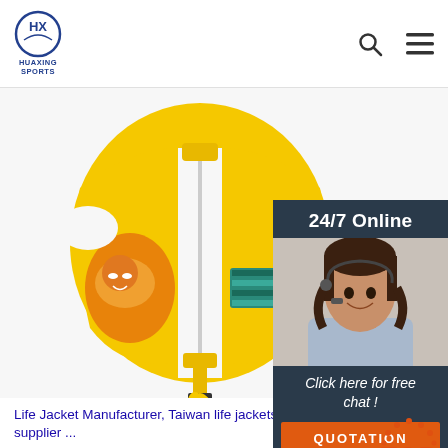HUAXING SPORTS
[Figure (photo): Yellow children's life jacket/swim vest with colorful cartoon animal prints, shown from front with zipper and yellow waist strap]
[Figure (infographic): 24/7 Online chat widget with customer service representative photo, 'Click here for free chat!' text and orange QUOTATION button]
Life Jacket Manufacturer, Taiwan life jackets supplier ...
Lists of Taiwan & China Life Jacket, Taiwan life jackets suppliers & manufacturers that are carefully selected to ensure high directory accuracy. They supply top quality life jacket,
[Figure (logo): TOP badge logo with dots arranged in arc above letters TOP in orange/red]